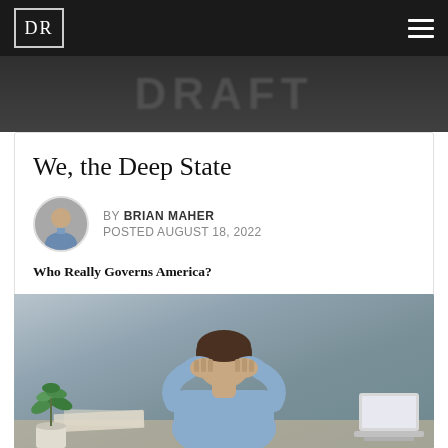DR
[Figure (photo): Dark banner with blurred background text (DRAFT-like lettering)]
We, the Deep State
BY BRIAN MAHER
POSTED AUGUST 18, 2022
Who Really Governs America?
[Figure (photo): Man sitting at desk with head in hands, stressed, in front of laptop, with a potted plant nearby]